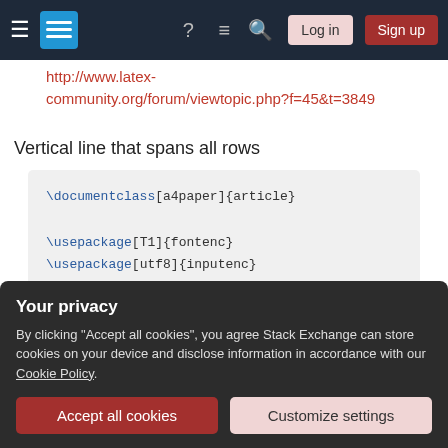Stack Exchange navigation bar with hamburger, logo, help, chat, search, Log in, Sign up
http://www.latex-community.org/forum/viewtopic.php?f=45&t=3849
Vertical line that spans all rows
Your privacy
By clicking "Accept all cookies", you agree Stack Exchange can store cookies on your device and disclose information in accordance with our Cookie Policy.
Accept all cookies   Customize settings